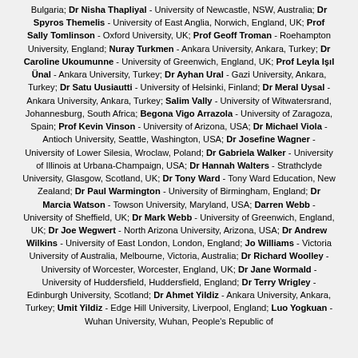Bulgaria; Dr Nisha Thapliyal - University of Newcastle, NSW, Australia; Dr Spyros Themelis - University of East Anglia, Norwich, England, UK; Prof Sally Tomlinson - Oxford University, UK; Prof Geoff Troman - Roehampton University, England; Nuray Turkmen - Ankara University, Ankara, Turkey; Dr Caroline Ukoumunne - University of Greenwich, England, UK; Prof Leyla Işıl Ünal - Ankara University, Turkey; Dr Ayhan Ural - Gazi University, Ankara, Turkey; Dr Satu Uusiautti - University of Helsinki, Finland; Dr Meral Uysal - Ankara University, Ankara, Turkey; Salim Vally - University of Witwatersrand, Johannesburg, South Africa; Begona Vigo Arrazola - University of Zaragoza, Spain; Prof Kevin Vinson - University of Arizona, USA; Dr Michael Viola - Antioch University, Seattle, Washington, USA; Dr Josefine Wagner - University of Lower Silesia, Wroclaw, Poland; Dr Gabriela Walker - University of Illinois at Urbana-Champaign, USA; Dr Hannah Walters - Strathclyde University, Glasgow, Scotland, UK; Dr Tony Ward - Tony Ward Education, New Zealand; Dr Paul Warmington - University of Birmingham, England; Dr Marcia Watson - Towson University, Maryland, USA; Darren Webb - University of Sheffield, UK; Dr Mark Webb - University of Greenwich, England, UK; Dr Joe Wegwert - North Arizona University, Arizona, USA; Dr Andrew Wilkins - University of East London, London, England; Jo Williams - Victoria University of Australia, Melbourne, Victoria, Australia; Dr Richard Woolley - University of Worcester, Worcester, England, UK; Dr Jane Wormald - University of Huddersfield, Huddersfield, England; Dr Terry Wrigley - Edinburgh University, Scotland; Dr Ahmet Yildiz - Ankara University, Ankara, Turkey; Umit Yildiz - Edge Hill University, Liverpool, England; Luo Yogkuan - Wuhan University, Wuhan, People's Republic of